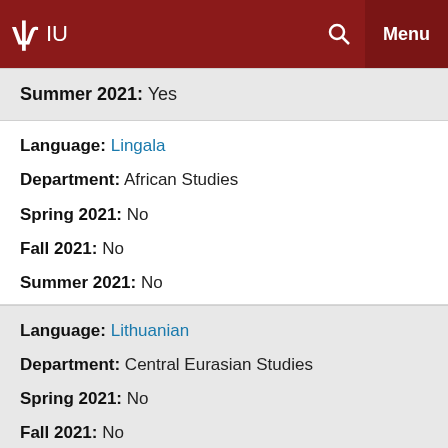IU Menu
Summer 2021: Yes
Language: Lingala
Department: African Studies
Spring 2021: No
Fall 2021: No
Summer 2021: No
Language: Lithuanian
Department: Central Eurasian Studies
Spring 2021: No
Fall 2021: No